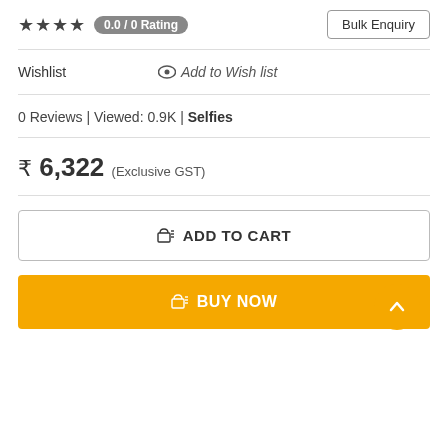★★★★ 0.0 / 0 Rating
Bulk Enquiry
Wishlist   👁 Add to Wish list
0 Reviews | Viewed: 0.9K | Selfies
₹ 6,322 (Exclusive GST)
🛒 ADD TO CART
🛒 BUY NOW